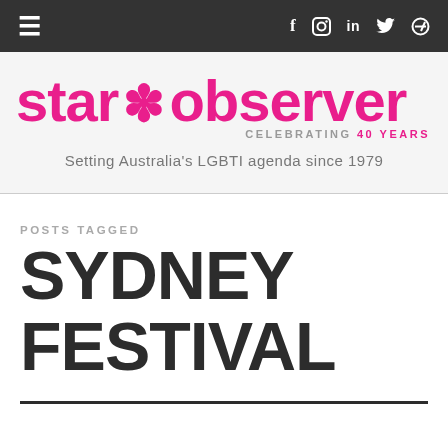≡   f  ◎  in  🐦  🔍
[Figure (logo): Star Observer logo — 'star * observer' in bold pink lettering with 'CELEBRATING 40 YEARS' subtitle and tagline 'Setting Australia's LGBTI agenda since 1979']
POSTS TAGGED
SYDNEY FESTIVAL